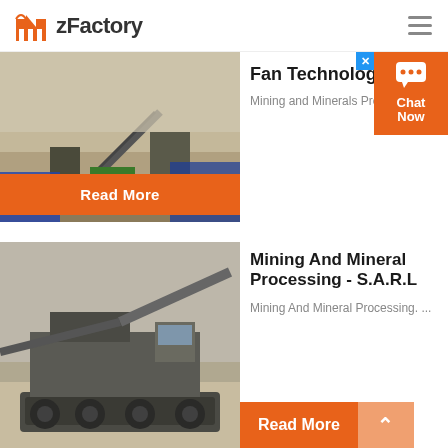zFactory
[Figure (photo): Mining site with conveyor belt and industrial equipment, green machinery visible]
Mining and Minerals Process...
Read More
[Figure (screenshot): Chat Now widget with speech bubble icon and X close button]
[Figure (photo): Mining and mineral processing heavy machinery with tracked equipment at a quarry site]
Mining And Mineral Processing - S.A.R.L
Mining And Mineral Processing. ...
Read More